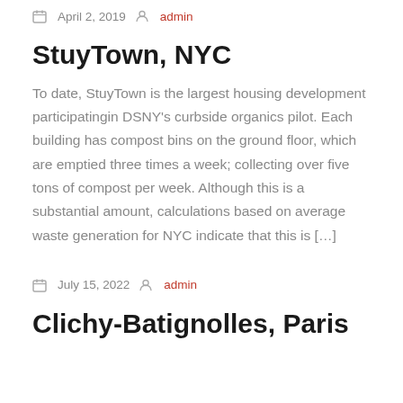April 2, 2019  admin
StuyTown, NYC
To date, StuyTown is the largest housing development participatingin DSNY's curbside organics pilot. Each building has compost bins on the ground floor, which are emptied three times a week; collecting over five tons of compost per week. Although this is a substantial amount, calculations based on average waste generation for NYC indicate that this is […]
July 15, 2022  admin
Clichy-Batignolles, Paris